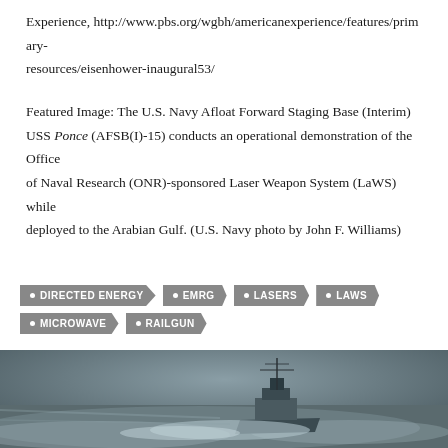Experience, http://www.pbs.org/wgbh/americanexperience/features/primary-resources/eisenhower-inaugural53/
Featured Image: The U.S. Navy Afloat Forward Staging Base (Interim) USS Ponce (AFSB(I)-15) conducts an operational demonstration of the Office of Naval Research (ONR)-sponsored Laser Weapon System (LaWS) while deployed to the Arabian Gulf. (U.S. Navy photo by John F. Williams)
DIRECTED ENERGY
EMRG
LASERS
LAWS
MICROWAVE
RAILGUN
[Figure (photo): Black and white photograph of a U.S. Navy warship at sea, cutting through waves at speed, with mast and superstructure visible.]